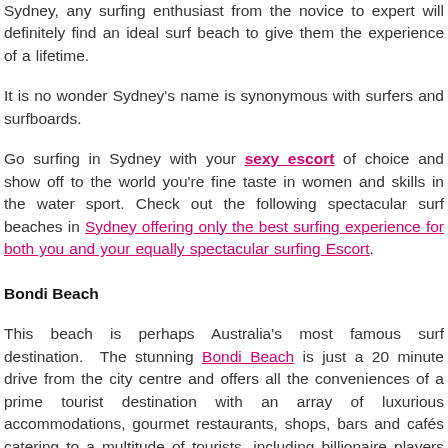Sydney, any surfing enthusiast from the novice to expert will definitely find an ideal surf beach to give them the experience of a lifetime.
It is no wonder Sydney's name is synonymous with surfers and surfboards.
Go surfing in Sydney with your sexy escort of choice and show off to the world you're fine taste in women and skills in the water sport. Check out the following spectacular surf beaches in Sydney offering only the best surfing experience for both you and your equally spectacular surfing Escort.
Bondi Beach
This beach is perhaps Australia's most famous surf destination. The stunning Bondi Beach is just a 20 minute drive from the city centre and offers all the conveniences of a prime tourist destination with an array of luxurious accommodations, gourmet restaurants, shops, bars and cafés catering to a multitude of tourists, including billionaire players walking